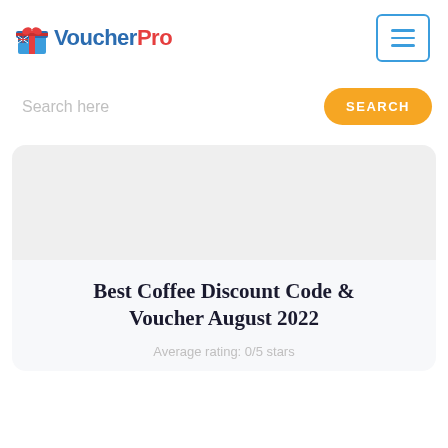VoucherPro
[Figure (logo): VoucherPro logo with gift box icon, 'Voucher' in blue and 'Pro' in red]
[Figure (other): Hamburger menu button with blue border and three blue horizontal lines]
Search here
SEARCH
Best Coffee Discount Code & Voucher August 2022
Average rating: 0/5 stars